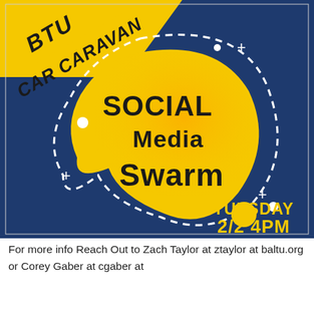[Figure (infographic): Dark navy blue square poster. A diagonal yellow banner in the top-left reads 'BTU CAR CARAVAN' in bold black italic text. In the center is a large yellow/gold blob shape with the text 'SOCIAL Media Swarm' in bold black lettering. A white dashed curved line outlines an organic teardrop/speech-bubble shape. White dots, small white circles, and white plus/cross symbols are scattered as decoration. In the bottom-right corner, yellow text reads 'TUESDAY 2/2 4PM'.]
For more info Reach Out to Zach Taylor at ztaylor at baltu.org or Corey Gaber at cgaber at